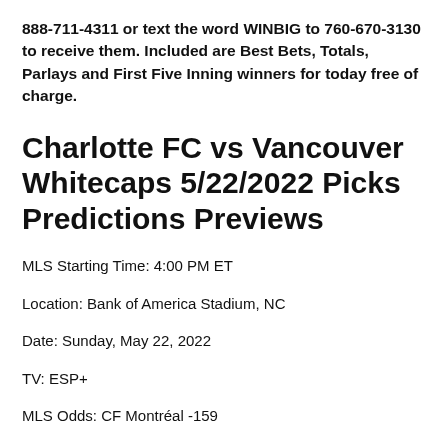888-711-4311 or text the word WINBIG to 760-670-3130 to receive them. Included are Best Bets, Totals, Parlays and First Five Inning winners for today free of charge.
Charlotte FC vs Vancouver Whitecaps 5/22/2022 Picks Predictions Previews
MLS Starting Time: 4:00 PM ET
Location: Bank of America Stadium, NC
Date: Sunday, May 22, 2022
TV: ESP+
MLS Odds: CF Montréal -159